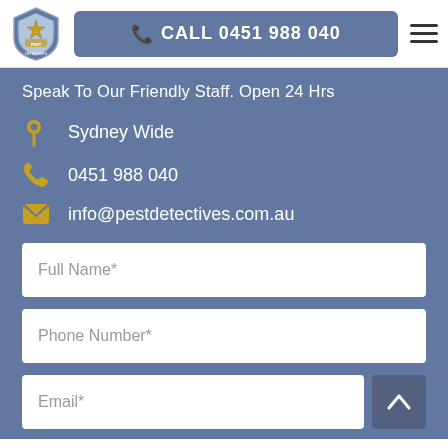[Figure (logo): Pest Detectives shield badge logo]
CALL 0451 988 040
Speak To Our Friendly Staff. Open 24 Hrs
Sydney Wide
0451 988 040
info@pestdetectives.com.au
Full Name*
Phone Number*
Email*